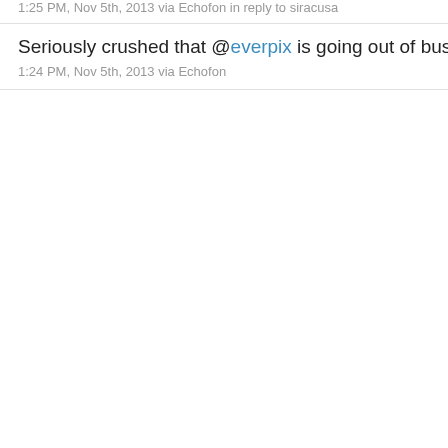1:25 PM, Nov 5th, 2013 via Echofon in reply to siracusa
Seriously crushed that @everpix is going out of business.
1:24 PM, Nov 5th, 2013 via Echofon
November 2020   35
October 2020   25
September 2020   16
August 2020   18
July 2020   22
June 2020   8
May 2020   9
April 2020   5
March 2020   14
February 2020   13
January 2020   4
December 2019   6
November